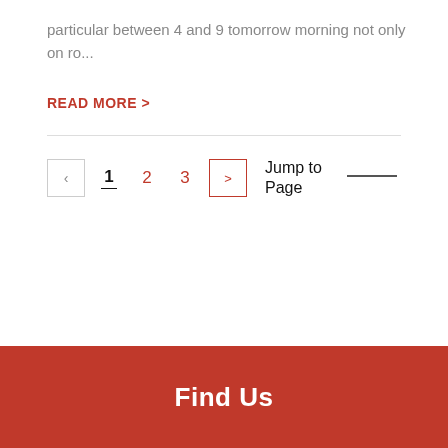particular between 4 and 9 tomorrow morning not only on ro...
READ MORE >
1  2  3  >  Jump to Page
Find Us